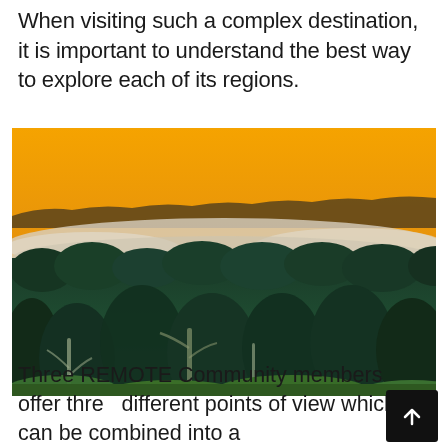When visiting such a complex destination, it is important to understand the best way to explore each of its regions.
[Figure (photo): Aerial view of a dense rainforest canopy at dawn or dusk, with mist/fog floating between the trees and a vivid orange-yellow sky above the horizon. The foreground shows tall, dark green tropical trees with pale bare trunks visible, while the mid-ground has a white misty layer shrouding the canopy, and the background shows a tree-lined ridge silhouetted against the glowing orange sky.]
Three REMOTE Community members offer three different points of view which can be combined into a